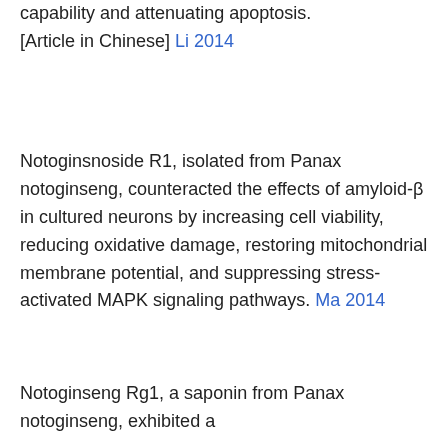capability and attenuating apoptosis. [Article in Chinese] Li 2014
Notoginsnoside R1, isolated from Panax notoginseng, counteracted the effects of amyloid-β in cultured neurons by increasing cell viability, reducing oxidative damage, restoring mitochondrial membrane potential, and suppressing stress-activated MAPK signaling pathways. Ma 2014
Notoginseng Rg1, a saponin from Panax notoginseng, exhibited a